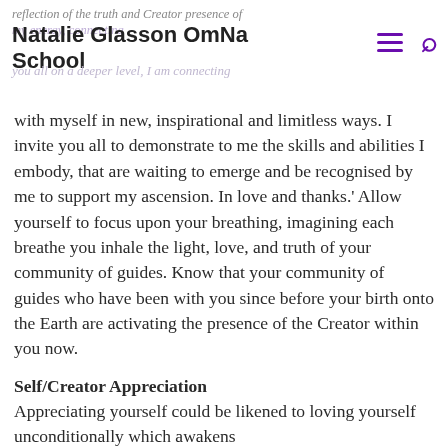Natalie Glasson OmNa School
with myself in new, inspirational and limitless ways. I invite you all to demonstrate to me the skills and abilities I embody, that are waiting to emerge and be recognised by me to support my ascension. In love and thanks.' Allow yourself to focus upon your breathing, imagining each breathe you inhale the light, love, and truth of your community of guides. Know that your community of guides who have been with you since before your birth onto the Earth are activating the presence of the Creator within you now.
Self/Creator Appreciation
Appreciating yourself could be likened to loving yourself unconditionally which awakens